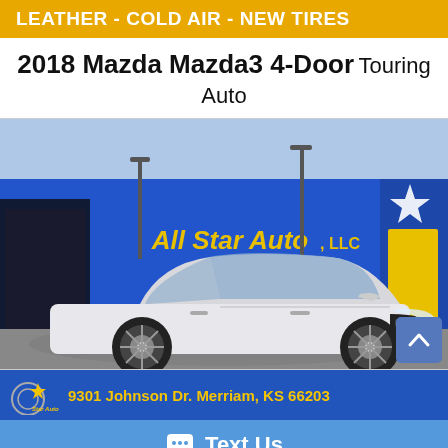LEATHER - COLD AIR - NEW TIRES
2018 Mazda Mazda3 4-Door Touring Auto
[Figure (photo): White 2018 Mazda Mazda3 4-Door parked in front of All Star Auto, LLC dealership. The dealership building is blue with yellow lettering reading 'All Star Auto, LLC' and a star logo. A 'BUY SELL' sign is visible in a window.]
9301 Johnson Dr. Merriam, KS 66203
Text Us